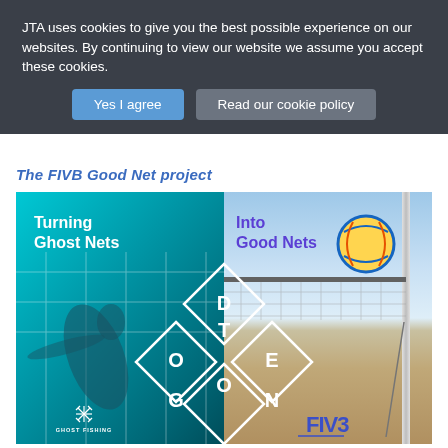JTA uses cookies to give you the best possible experience on our websites. By continuing to view our website we assume you accept these cookies.
Yes I agree
Read our cookie policy
The FIVB Good Net project
[Figure (photo): Promotional image split into two halves: left side shows an underwater scene (cyan/teal) with a diver near a ghost fishing net, overlaid with diamond-shaped logo and text 'Turning Ghost Nets' and Ghost Fishing logo; right side shows a beach volleyball court with a volleyball near the net, overlaid with 'Into Good Nets' text in purple and FIVB logo. The combined diamond logo in the center reads 'DOTE GONE'.]